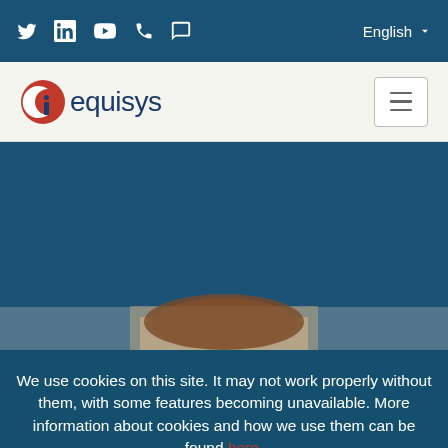Social icons: Twitter, LinkedIn, YouTube, Phone, Chat | Language: English
[Figure (logo): Equisys logo with red circular icon and dark blue text]
[Figure (photo): Dark blue hero image with partial view of a person with brown hair at the bottom]
We use cookies on this site. It may not work properly without them, with some features becoming unavailable. More information about cookies and how we use them can be found here.